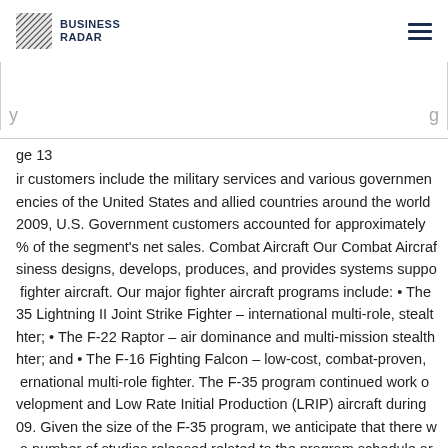BUSINESS RADAR
ge 13
ir customers include the military services and various government agencies of the United States and allied countries around the world 2009, U.S. Government customers accounted for approximately % of the segment's net sales. Combat Aircraft Our Combat Aircraft business designs, develops, produces, and provides systems support fighter aircraft. Our major fighter aircraft programs include: • The F-35 Lightning II Joint Strike Fighter – international multi-role, stealth fighter; • The F-22 Raptor – air dominance and multi-mission stealth fighter; and • The F-16 Fighting Falcon – low-cost, combat-proven, international multi-role fighter. The F-35 program continued work on development and Low Rate Initial Production (LRIP) aircraft during 09. Given the size of the F-35 program, we anticipate that there will be a number of studies released related to the program schedule and